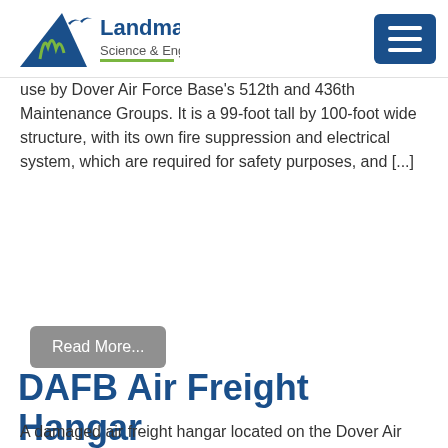Landmark Science & Engineering
use by Dover Air Force Base's 512th and 436th Maintenance Groups. It is a 99-foot tall by 100-foot wide structure, with its own fire suppression and electrical system, which are required for safety purposes, and [...]
Read More...
DAFB Air Freight Hangar
A damaged air freight hangar located on the Dover Air Force Base in close proximity to a C-5 taxiway needed to be demolished and replaced with the construction of a new 350,000+ square foot air freight terminal hangar